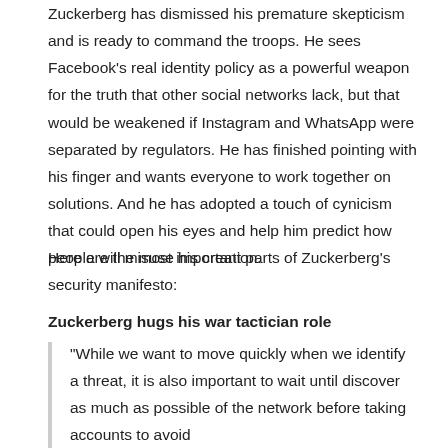Zuckerberg has dismissed his premature skepticism and is ready to command the troops. He sees Facebook's real identity policy as a powerful weapon for the truth that other social networks lack, but that would be weakened if Instagram and WhatsApp were separated by regulators. He has finished pointing with his finger and wants everyone to work together on solutions. And he has adopted a touch of cynicism that could open his eyes and help him predict how people will misuse his creation.
Here are the most important parts of Zuckerberg's security manifesto:
Zuckerberg hugs his war tactician role
"While we want to move quickly when we identify a threat, it is also important to wait until discover as much as possible of the network before taking accounts to avoid